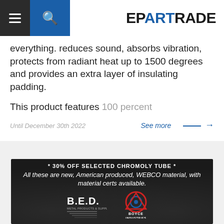EPARTRADE
everything. reduces sound, absorbs vibration, protects from radiant heat up to 1500 degrees and provides an extra layer of insulating padding.

This product features 100 percent
Until December 30th 2022
See more →
[Figure (advertisement): Dark advertisement banner: '* 30% OFF SELECTED CHROMOLY TUBE *' in bold white text. Italic text: 'All these are new, American produced, WEBCO material, with material certs available.' Logos for B.E.D. Metal Products & Supplies and Boyce Industries at bottom.]